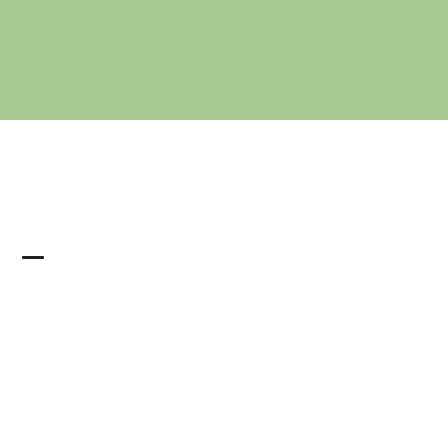[Figure (other): Solid sage green / light green rectangular header banner]
[Figure (other): Hamburger menu icon (three horizontal lines)]
[Figure (other): Horizontal image strip showing two images side by side: left image shows a blurry green/nature scene with white highlight, right image shows a reddish-brown interior or product scene with rectangular shapes]